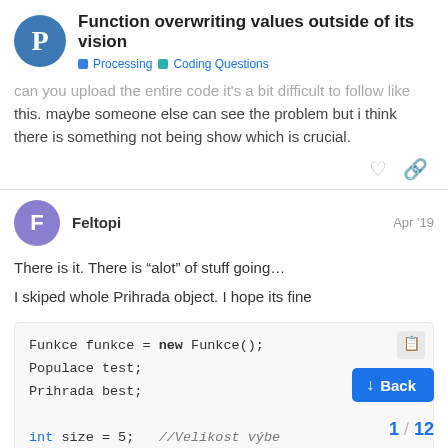Function overwriting values outside of its vision
Processing  Coding Questions
can you upload the entire code it's a bit difficult to follow like this. maybe someone else can see the problem but i think there is something not being show which is crucial.
Feltopi  Apr '19
There is it. There is “alot” of stuff going...
I skiped whole Prihrada object. I hope its fine
Funkce funkce = new Funkce();
Populace test;
Prihrada best;

int size = 5;   //Velikost výbe